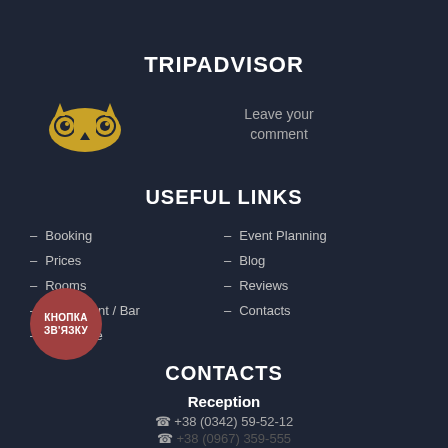TRIPADVISOR
[Figure (logo): TripAdvisor owl logo in gold/yellow color]
Leave your comment
USEFUL LINKS
– Booking
– Event Planning
– Prices
– Blog
– Rooms
– Reviews
– Restaurant / Bar
– Contacts
– SPA Zone
CONTACTS
Reception
+38 (0342) 59-52-12
[Figure (other): Red circular button labeled КНОПКА ЗВ'ЯЗКУ (contact button)]